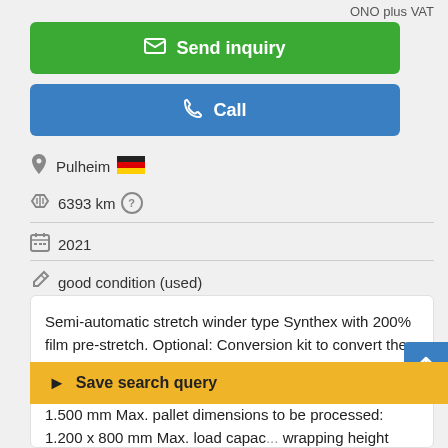ONO plus VAT
Send inquiry
Call
Pulheim 🇩🇪
6393 km ?
2021
good condition (used)
Semi-automatic stretch winder type Synthex with 200% film pre-stretch. Optional: Conversion kit to convert the power stretch unit to 250% stretch. Optional also ramp to the line available 1500 or 2450 mm long. Turntable Ø: 1.500 mm Max. pallet dimensions to be processed: 1.200 x 800 mm Max. load capac... wrapping height (incl. pallet): 2.200 mm Height of turntable 75mm Height sensing by means of light
Save search query